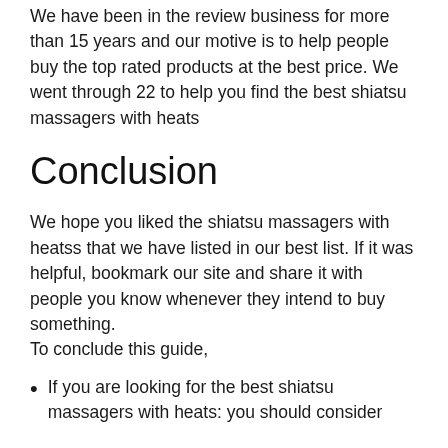We have been in the review business for more than 15 years and our motive is to help people buy the top rated products at the best price. We went through 22 to help you find the best shiatsu massagers with heats
Conclusion
We hope you liked the shiatsu massagers with heatss that we have listed in our best list. If it was helpful, bookmark our site and share it with people you know whenever they intend to buy something.
To conclude this guide,
If you are looking for the best shiatsu massagers with heats: you should consider